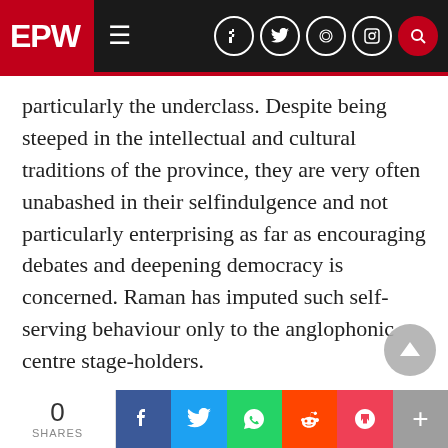EPW
particularly the underclass. Despite being steeped in the intellectual and cultural traditions of the province, they are very often unabashed in their selfindulgence and not particularly enterprising as far as encouraging debates and deepening democracy is concerned. Raman has imputed such self-serving behaviour only to the anglophonic centre stage-holders.
A weak ground in Guha’s essay is the missing analysis in the relationship of creation of states on the basis of language and the supposed reduced linguidexterousness in those regions, and the